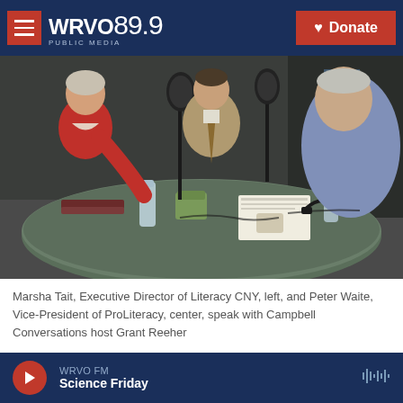WRVO PUBLIC MEDIA 89.9 | Donate
[Figure (photo): Three people seated at a round studio table with microphones, recording a radio program. A woman in red on the left, a man in tan jacket in the center, and a man in a blue shirt on the right.]
Marsha Tait, Executive Director of Literacy CNY, left, and Peter Waite, Vice-President of ProLiteracy, center, speak with Campbell Conversations host Grant Reeher
Continuing its series on poverty in the Syracuse region, this week's edition of the Campbell
WRVO FM | Science Friday